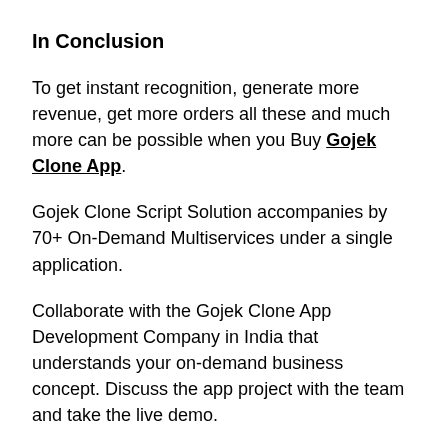In Conclusion
To get instant recognition, generate more revenue, get more orders all these and much more can be possible when you Buy Gojek Clone App.
Gojek Clone Script Solution accompanies by 70+ On-Demand Multiservices under a single application.
Collaborate with the Gojek Clone App Development Company in India that understands your on-demand business concept. Discuss the app project with the team and take the live demo.
Once you have confirmed the demo, and place an order the team starts your white-labeling process